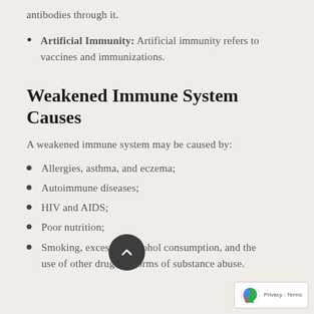antibodies through it.
Artificial Immunity: Artificial immunity refers to vaccines and immunizations.
Weakened Immune System Causes
A weakened immune system may be caused by:
Allergies, asthma, and eczema;
Autoimmune diseases;
HIV and AIDS;
Poor nutrition;
Smoking, excessive alcohol consumption, and the use of other drugs or forms of substance abuse.